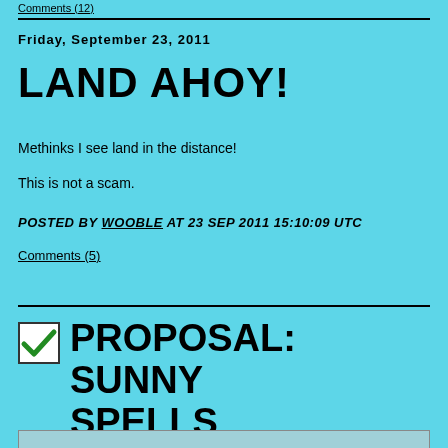Comments (12)
Friday, September 23, 2011
LAND AHOY!
Methinks I see land in the distance!
This is not a scam.
POSTED BY WOOBLE AT 23 SEP 2011 15:10:09 UTC
Comments (5)
PROPOSAL: SUNNY SPELLS